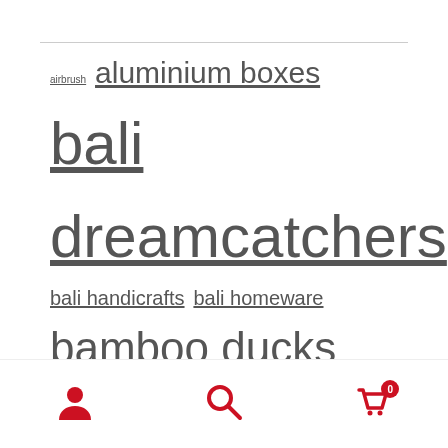airbrush aluminium boxes bali dreamcatchers bali handicrafts bali homeware bamboo ducks bamboo root ducks bamboo windchimes beaded bags bench boat furniture boat wood furniture Boomerangs box cabinet chair coco wood crafts coffee table daybed glass indian headdresses mosaic mosaic bowls mosaic mirror Oil Drum Oil Drum Furniture papua necklace photo albums Purse reclaimed
[Figure (infographic): Bottom navigation bar with user icon, search icon, and shopping cart icon with badge showing 0]